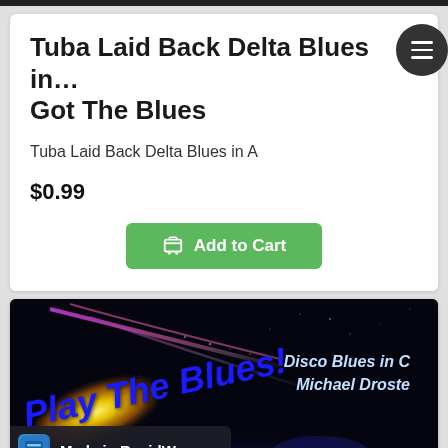Tuba Laid Back Delta Blues in… Got The Blues
Tuba Laid Back Delta Blues in A
$0.99
Add to Cart
[Figure (illustration): Album art showing 'Play The Blues!' in large bold italic blue text on dark background with colorful light streaks (yellow, pink/magenta, purple). Text 'Disco Blues in C' and 'Michael Droste' in cyan/light blue italic text. 'Made in RapidWeaver' badge in bottom left corner. 'For' text in bottom right.]